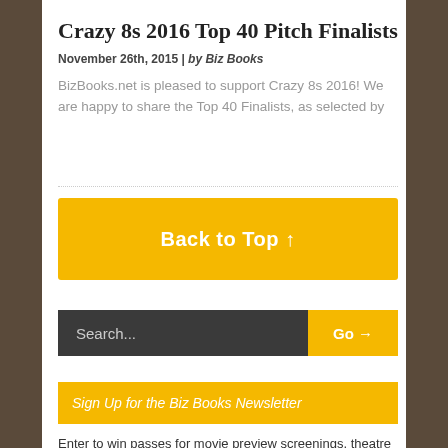Crazy 8s 2016 Top 40 Pitch Finalists
November 26th, 2015 | by Biz Books
BizBooks.net is pleased to support Crazy 8s 2016! We are happy to share the Top 40 Finalists, as selected by
Back to Top ↑
Search...  Go →
Sign Up for the Biz Books Newsletter
Enter to win passes for movie preview screenings, theatre openings, and more!